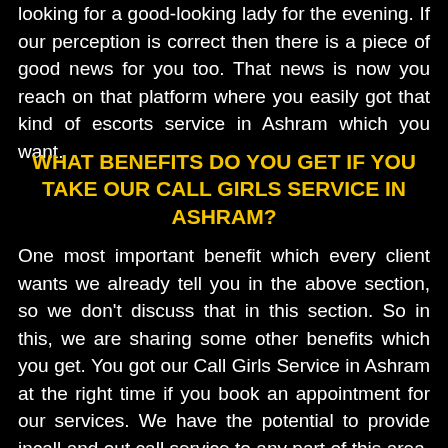looking for a good-looking lady for the evening. If our perception is correct then there is a piece of good news for you too. That news is now you reach on that platform where you easily got that kind of escorts service in Ashram which you want.
WHAT BENEFITS DO YOU GET IF YOU TAKE OUR CALL GIRLS SERVICE IN ASHRAM?
One most important benefit which every client wants we already tell you in the above section, so we don't discuss that in this section. So in this, we are sharing some other benefits which you get. You got our Call Girls Service in Ashram at the right time if you book an appointment for our services. We have the potential to provide incall and out call service to any part of this area. So you can enjoy any kind of service. We can arrange any kind of stuff for our clients who take our incall service. So like this, you enjoy many other benefits from our services. Many middle-class people